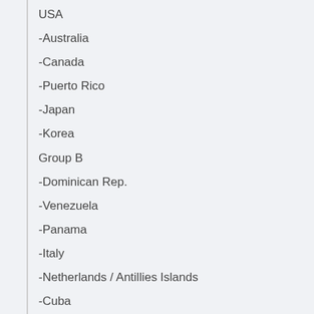USA
-Australia
-Canada
-Puerto Rico
-Japan
-Korea
Group B
-Dominican Rep.
-Venezuela
-Panama
-Italy
-Netherlands / Antillies Islands
-Cuba
Now granted...the concept is..when that Tourney got down